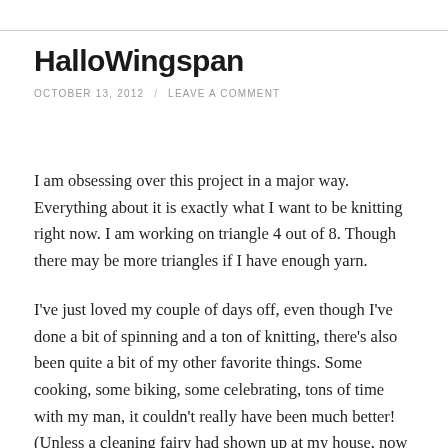HalloWingspan
OCTOBER 13, 2012 / LEAVE A COMMENT
I am obsessing over this project in a major way. Everything about it is exactly what I want to be knitting right now. I am working on triangle 4 out of 8. Though there may be more triangles if I have enough yarn.
I've just loved my couple of days off, even though I've done a bit of spinning and a ton of knitting, there's also been quite a bit of my other favorite things. Some cooking, some biking, some celebrating, tons of time with my man, it couldn't really have been much better! (Unless a cleaning fairy had shown up at my house, now that would have made it even better.) I am sad it is